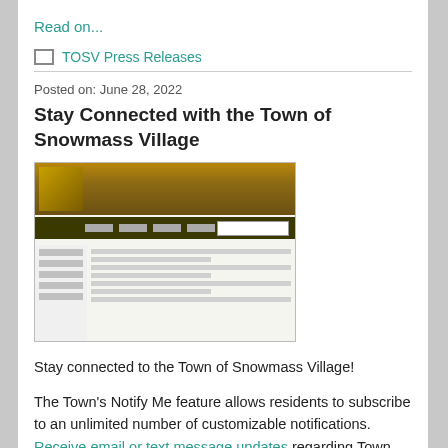Read on...
TOSV Press Releases
Posted on: June 28, 2022
Stay Connected with the Town of Snowmass Village
[Figure (screenshot): Screenshot of the Town of Snowmass Village website homepage showing a banner image with golden/autumn colors, navigation bar, sidebar menu, and content area with text.]
Stay connected to the Town of Snowmass Village!
The Town's Notify Me feature allows residents to subscribe to an unlimited number of customizable notifications. Receive email or text message updates regarding Town information – Town news & eve...
Read on...